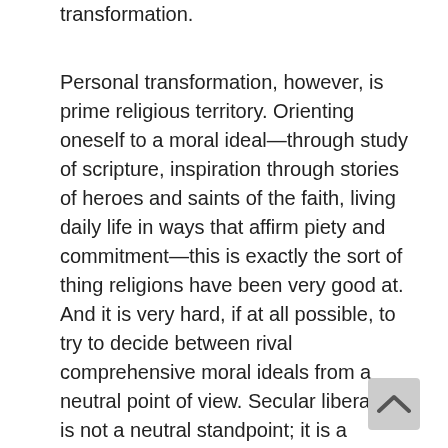transformation.
Personal transformation, however, is prime religious territory. Orienting oneself to a moral ideal—through study of scripture, inspiration through stories of heroes and saints of the faith, living daily life in ways that affirm piety and commitment—this is exactly the sort of thing religions have been very good at. And it is very hard, if at all possible, to try to decide between rival comprehensive moral ideals from a neutral point of view. Secular liberalism is not a neutral standpoint; it is a competing perspective. Today, some women of Muslim backgrounds are attracted to a more liberal individualist way of life. But then many are